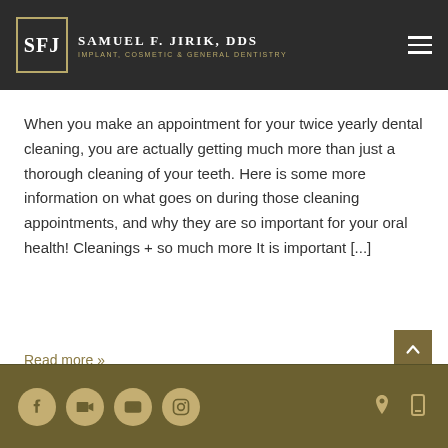Samuel F. Jirik, DDS — Implant, Cosmetic & General Dentistry
When you make an appointment for your twice yearly dental cleaning, you are actually getting much more than just a thorough cleaning of your teeth. Here is some more information on what goes on during those cleaning appointments, and why they are so important for your oral health! Cleanings + so much more It is important [...]
Read more »
Footer with social media icons (Facebook, video, YouTube, Instagram) and location/mobile icons